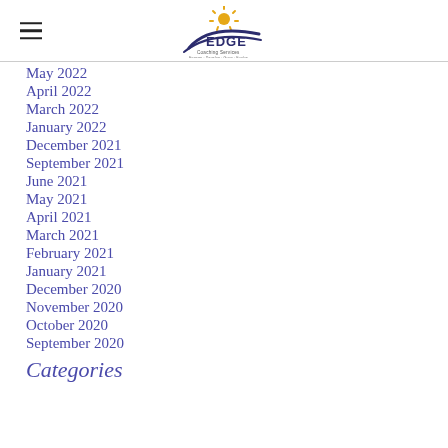EDGE Coaching Services
May 2022
April 2022
March 2022
January 2022
December 2021
September 2021
June 2021
May 2021
April 2021
March 2021
February 2021
January 2021
December 2020
November 2020
October 2020
September 2020
Categories